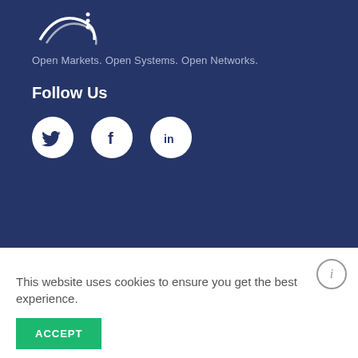[Figure (logo): Organization logo — partial circular swoosh/wave graphic in white on dark blue background with three dots]
Open Markets. Open Systems. Open Networks.
Follow Us
[Figure (illustration): Three social media icons in white circles: Twitter bird, Facebook f, LinkedIn in]
This website uses cookies to ensure you get the best experience.
ACCEPT